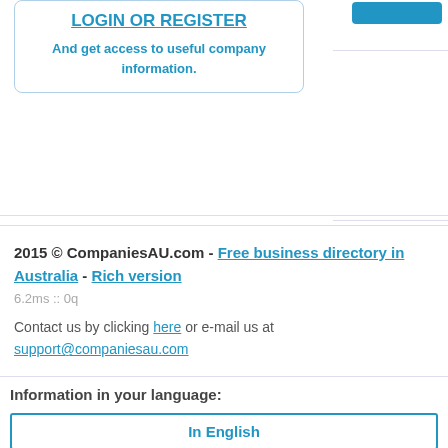[Figure (screenshot): Login or Register call-to-action box with blue border and cyan text, with partial table lines on the right side]
2015 © CompaniesAU.com - Free business directory in Australia - Rich version
6.2ms :: 0q
Contact us by clicking here or e-mail us at support@companiesau.com
Information in your language:
In English
日本語(日本